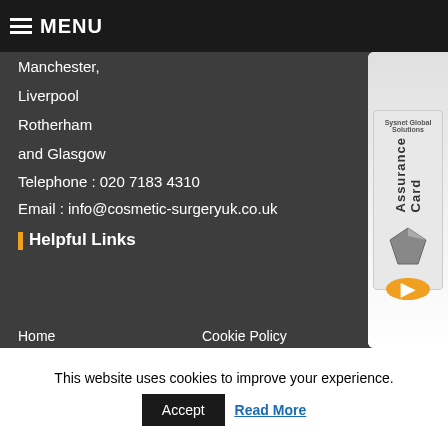MENU
Manchester,
Liverpool
Rotherham
and Glasgow
Telephone : 020 7183 4310
Email : info@cosmetic-surgeryuk.co.uk
Helpful Links
Home
Cookie Policy
About Us
Privacy Policy
Feedback
Terms and Conditions
Patients Stories
Aftercare
[Figure (illustration): Sysnet Global Solutions Assurance Card with orange circle arrow button]
This website uses cookies to improve your experience.
Accept   Read More